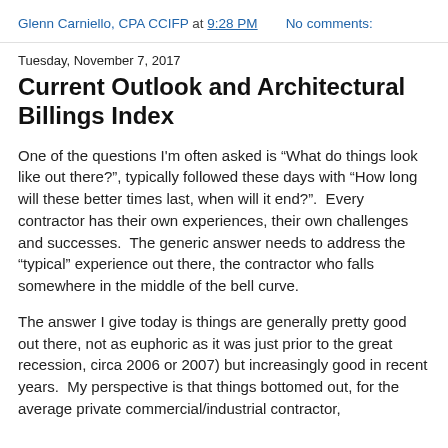Glenn Carniello, CPA CCIFP at 9:28 PM    No comments:
Tuesday, November 7, 2017
Current Outlook and Architectural Billings Index
One of the questions I'm often asked is “What do things look like out there?”, typically followed these days with “How long will these better times last, when will it end?”.  Every contractor has their own experiences, their own challenges and successes.  The generic answer needs to address the “typical” experience out there, the contractor who falls somewhere in the middle of the bell curve.
The answer I give today is things are generally pretty good out there, not as euphoric as it was just prior to the great recession, circa 2006 or 2007) but increasingly good in recent years.  My perspective is that things bottomed out, for the average private commercial/industrial contractor, sometime in 2013.  For larger areas, 2013 also...